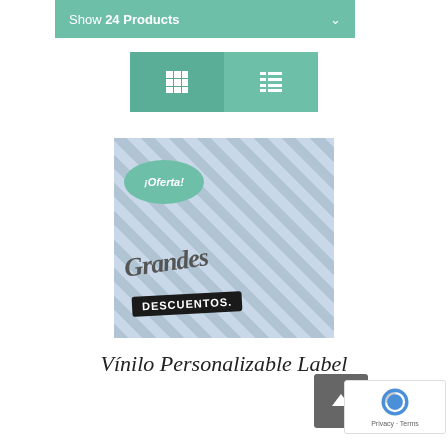Show 24 Products
[Figure (screenshot): View toggle buttons (grid and list icons) on a teal background]
[Figure (photo): Product image showing a window vinyl sticker with '¡Oferta!' badge and 'Grandes DESCUENTOS' text]
Vínilo Personalizable Label